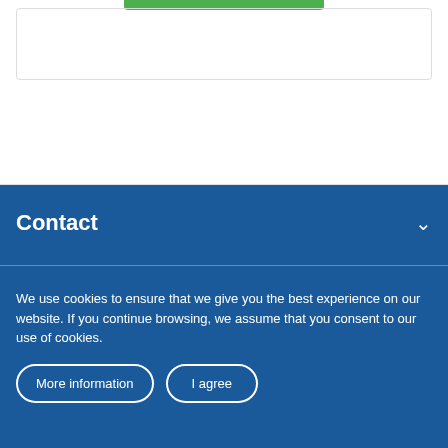Contact
We use cookies to ensure that we give you the best experience on our website. If you continue browsing, we assume that you consent to our use of cookies.
More information
I agree